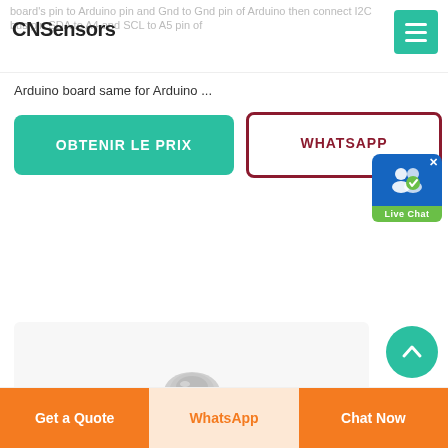CNSensors
board's pin to Arduino pin and Gnd to Gnd pin of Arduino then connect I2C bus pin SDA to A4 and SCL to A5 pin of
Arduino board same for Arduino ...
[Figure (screenshot): Live Chat button widget with blue background, two users icon, and green label]
OBTENIR LE PRIX
WHATSAPP
[Figure (photo): A metal TO-18 style transistor component with cylindrical metal cap and three pins on a white/light gray background]
Get a Quote | WhatsApp | Chat Now